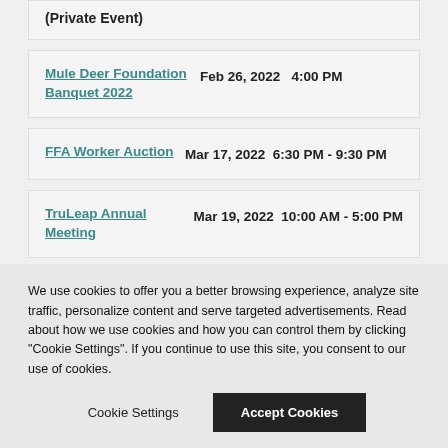(Private Event)
Mule Deer Foundation Banquet 2022 — Feb 26, 2022  4:00 PM
FFA Worker Auction — Mar 17, 2022  6:30 PM - 9:30 PM
TruLeap Annual Meeting — Mar 19, 2022  10:00 AM - 5:00 PM
Ray & Don's Gun Show 2022 — Mar 26 - Mar 27, 20229:00 AM
We use cookies to offer you a better browsing experience, analyze site traffic, personalize content and serve targeted advertisements. Read about how we use cookies and how you can control them by clicking "Cookie Settings". If you continue to use this site, you consent to our use of cookies.